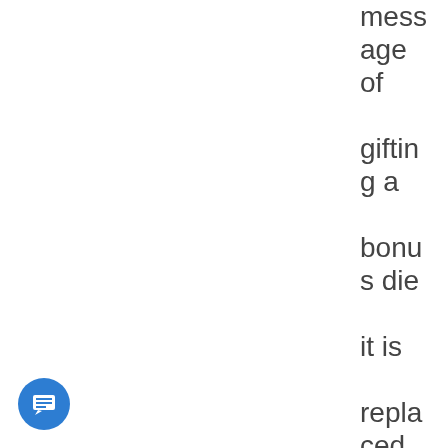message of gifting a bonus die it is replaced by the recipient of the gift)
[Figure (other): Blue circular chat/message button icon in the bottom-left corner]